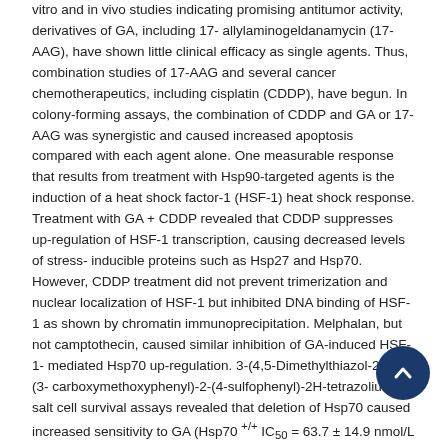vitro and in vivo studies indicating promising antitumor activity, derivatives of GA, including 17-allylaminogeldanamycin (17-AAG), have shown little clinical efficacy as single agents. Thus, combination studies of 17-AAG and several cancer chemotherapeutics, including cisplatin (CDDP), have begun. In colony-forming assays, the combination of CDDP and GA or 17-AAG was synergistic and caused increased apoptosis compared with each agent alone. One measurable response that results from treatment with Hsp90-targeted agents is the induction of a heat shock factor-1 (HSF-1) heat shock response. Treatment with GA + CDDP revealed that CDDP suppresses up-regulation of HSF-1 transcription, causing decreased levels of stress-inducible proteins such as Hsp27 and Hsp70. However, CDDP treatment did not prevent trimerization and nuclear localization of HSF-1 but inhibited DNA binding of HSF-1 as shown by chromatin immunoprecipitation. Melphalan, but not camptothecin, caused similar inhibition of GA-induced HSF-1-mediated Hsp70 up-regulation. 3-(4,5-Dimethylthiazol-2-yl)-5-(3-carboxymethoxyphenyl)-2-(4-sulfophenyl)-2H-tetrazolium salt cell survival assays revealed that deletion of Hsp70 caused increased sensitivity to GA (Hsp70 +/+ IC50 = 63.7 ± 14.9 nmol/L and Hsp70 -/- IC50 = 4.3 ± 2.9 nmol/L), which confirmed that a stress response plays a critical role in decreasing GA sensitivity.